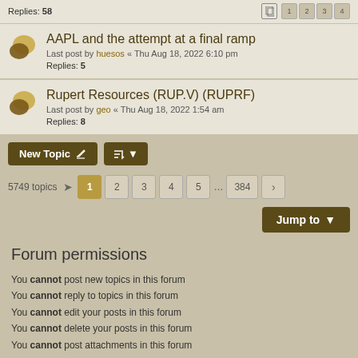Replies: 58
AAPL and the attempt at a final ramp
Last post by huesos « Thu Aug 18, 2022 6:10 pm
Replies: 5
Rupert Resources (RUP.V) (RUPRF)
Last post by geo « Thu Aug 18, 2022 1:54 am
Replies: 8
5749 topics  1 2 3 4 5 … 384
Forum permissions
You cannot post new topics in this forum
You cannot reply to topics in this forum
You cannot edit your posts in this forum
You cannot delete your posts in this forum
You cannot post attachments in this forum
Disclaimer › The Forum   Contact us   The team
Powered by phpBB® Forum Software © phpBB Limited
Style by Arty - Update phpBB 3.2 by MrGaby